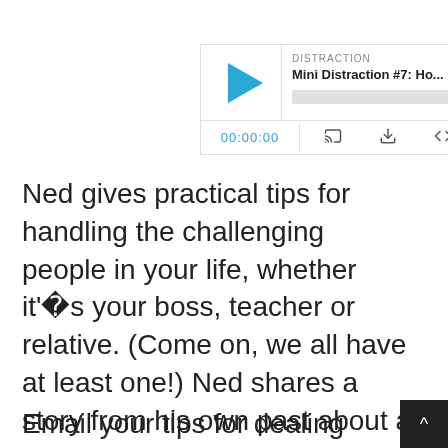[Figure (screenshot): Audio podcast player widget showing 'DISTRACTION' label, title 'Mini Distraction #7: Ho...', a blue play button, progress bar, time display '00:00:00', and control icons for cast, download, embed, and share.]
Ned gives practical tips for handling the challenging people in your life, whether it'‹›s your boss, teacher or relative. (Come on, we all have at least one!) Ned shares a story from his own past about a difficult person he dealt with in medical school.
Email your tips for dealing